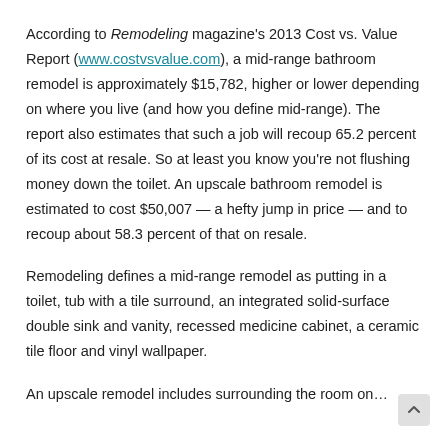According to Remodeling magazine's 2013 Cost vs. Value Report (www.costvsvalue.com), a mid-range bathroom remodel is approximately $15,782, higher or lower depending on where you live (and how you define mid-range). The report also estimates that such a job will recoup 65.2 percent of its cost at resale. So at least you know you're not flushing money down the toilet. An upscale bathroom remodel is estimated to cost $50,007 — a hefty jump in price — and to recoup about 58.3 percent of that on resale.
Remodeling defines a mid-range remodel as putting in a toilet, tub with a tile surround, an integrated solid-surface double sink and vanity, recessed medicine cabinet, a ceramic tile floor and vinyl wallpaper.
An upscale remodel includes surrounding the room on…